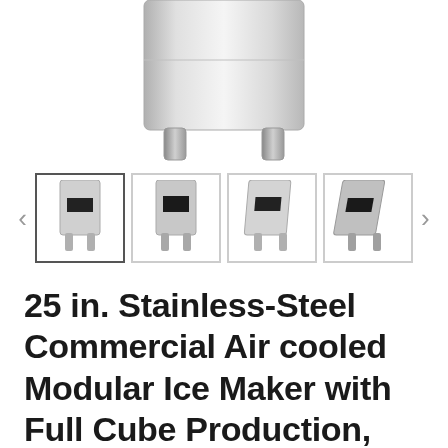[Figure (photo): Main product image showing top portion of a stainless-steel commercial ice maker with cylindrical fittings/legs visible at bottom]
[Figure (photo): Thumbnail gallery row showing four small images of the ice maker from different angles, with left and right navigation arrows]
25 in. Stainless-Steel Commercial Air cooled Modular Ice Maker with Full Cube Production, 315lbs/24h, CIM-315.